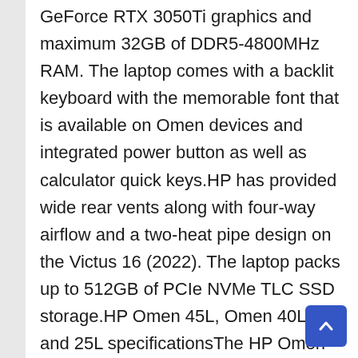GeForce RTX 3050Ti graphics and maximum 32GB of DDR5-4800MHz RAM. The laptop comes with a backlit keyboard with the memorable font that is available on Omen devices and integrated power button as well as calculator quick keys.HP has provided wide rear vents along with four-way airflow and a two-heat pipe design on the Victus 16 (2022). The laptop packs up to 512GB of PCIe NVMe TLC SSD storage.HP Omen 45L, Omen 40L, and 25L specificationsThe HP Omen 45L, 40L, and 25L desktops come with up to Intel Core i7-12700K processor, along with up to Nvidia GeForce RTX 3080 graphics with 10GB dedicated memory. Specifically, the Omen 40L includes HyperX 32GB DDR4 RAM.HP Omen 45L come with up to Intel Core i7-12700K